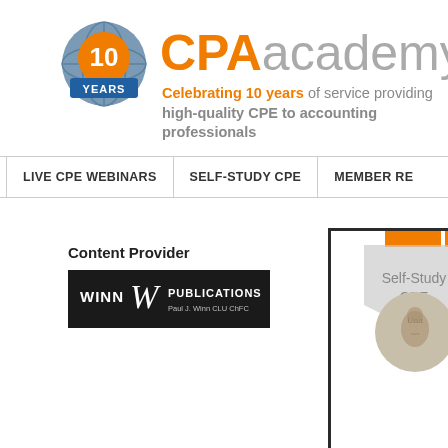[Figure (logo): CPAacademy.org logo with '10 Years' badge globe icon, orange CPA text and gray 'academy.org' text, tagline 'Celebrating 10 years of service providing high-quality CPE to accounting professionals']
LIVE CPE WEBINARS | SELF-STUDY CPE | MEMBER RE...
Content Provider
[Figure (logo): Winn Publications logo - black background with 'WINN W PUBLICATIONS Paul J. Winn CLU ChFC' in white text]
[Figure (screenshot): Partial preview panel with orange header bars, Self-Study CPE chevron label, and circular coin/money image]